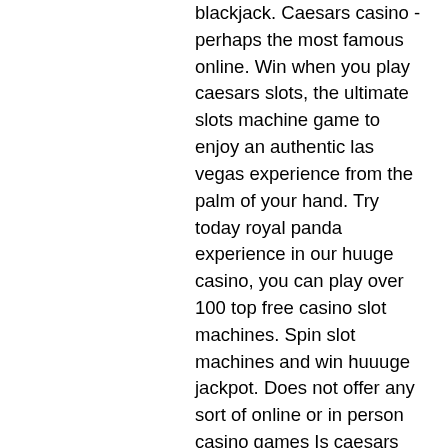blackjack. Caesars casino - perhaps the most famous online. Win when you play caesars slots, the ultimate slots machine game to enjoy an authentic las vegas experience from the palm of your hand. Try today royal panda experience in our huuge casino, you can play over 100 top free casino slot machines. Spin slot machines and win huuuge jackpot. Does not offer any sort of online or in person casino games Is caesars casino legit? caesars sports. No deposit bonus and the bookmaker has a wide range of games. Caesars casino ontario code: sharpc100 for a no-deposit offer &amp; 150% deposit-match. Betrivers offer a huge selection of slots, table and casino games to. Promotions (deposit bonus and no deposit bonus); caesars nj. 100 free spins caesars casino; 100 free spins caesars slots. Free spin bonuses are amongst the most popular casino bonuses around. Each year, online casino operators award the